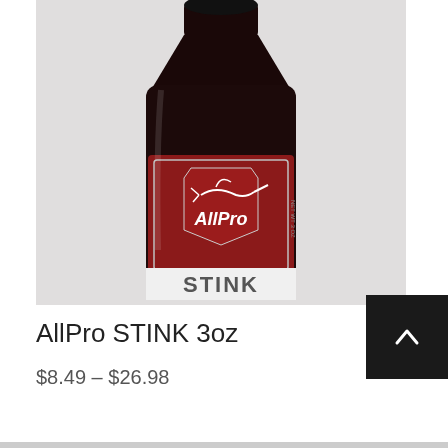[Figure (photo): A dark brown/black bottle with a red label showing the AllPro brand logo (a marlin fish) and partial text 'STINK' visible at the bottom of the label. The bottle is photographed against a white/light gray background.]
AllPro STINK 3oz
$8.49 – $26.98